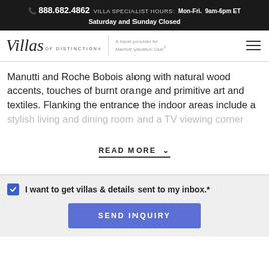☎ 888.682.4862  VILLA SPECIALIST HOURS:  Mon-Fri.  9am-6pm ET
Saturday and Sunday Closed
[Figure (logo): Villas of Distinction logo with italic script 'Villas' text, 'OF DISTINCTION' in small caps, a vertical divider, tagline 'A travel provider for Marriott Vacation Club®', and a hamburger menu icon on the right]
Manutti and Roche Bobois along with natural wood accents, touches of burnt orange and primitive art and textiles. Flanking the entrance the indoor areas include a stylish living and dining room and a TV viewing corner
READ MORE
I want to get villas & details sent to my inbox.*
SEND INQUIRY